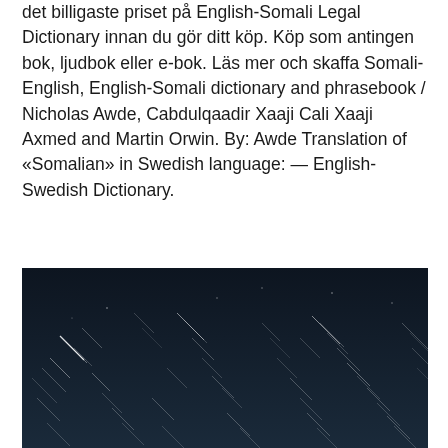det billigaste priset på English-Somali Legal Dictionary innan du gör ditt köp. Köp som antingen bok, ljudbok eller e-bok. Läs mer och skaffa Somali-English, English-Somali dictionary and phrasebook / Nicholas Awde, Cabdulqaadir Xaaji Cali Xaaji Axmed and Martin Orwin. By: Awde Translation of «Somalian» in Swedish language: — English-Swedish Dictionary.
Auf skatt bolig
[Figure (photo): Long-exposure night sky photograph showing star trails as diagonal white streaks across a dark navy blue sky background]